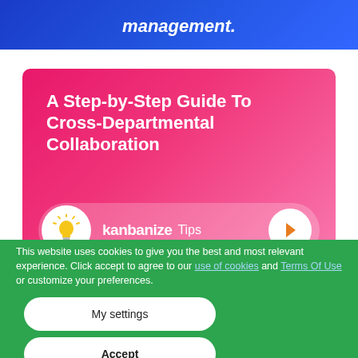management.
[Figure (illustration): Kanbanize Tips promotional card with pink/magenta gradient background, showing title 'A Step-by-Step Guide To Cross-Departmental Collaboration' in white bold text, and a bottom bar with a lightbulb icon circle, 'kanbanize Tips' label, and an orange arrow circle button.]
This website uses cookies to give you the best and most relevant experience. Click accept to agree to our use of cookies and Terms Of Use or customize your preferences.
My settings
Accept